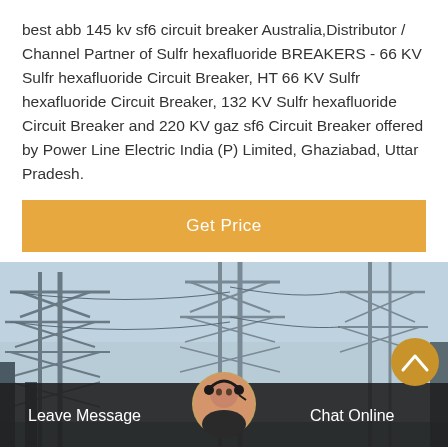best abb 145 kv sf6 circuit breaker Australia,Distributor / Channel Partner of Sulfr hexafluoride BREAKERS - 66 KV Sulfr hexafluoride Circuit Breaker, HT 66 KV Sulfr hexafluoride Circuit Breaker, 132 KV Sulfr hexafluoride Circuit Breaker and 220 KV gaz sf6 Circuit Breaker offered by Power Line Electric India (P) Limited, Ghaziabad, Uttar Pradesh.
[Figure (other): Button labeled 'Get Price' with orange/amber background and white text]
[Figure (photo): Photograph of electrical transmission towers and high-voltage power line infrastructure against a light sky background. A customer service representative avatar appears at the bottom center.]
Leave Message   Chat Online